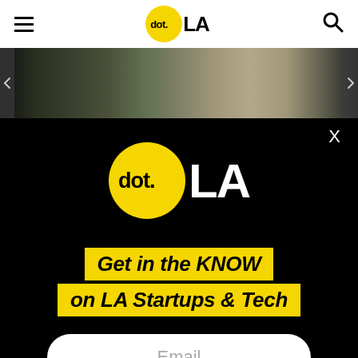[Figure (logo): dot.LA logo in navigation bar — yellow circle with 'dot.' text and 'LA' beside it]
[Figure (photo): Horizontal image strip showing an outdoor event with tents and crowd, partially visible]
[Figure (logo): Large dot.LA logo centered on black background — yellow circle with 'dot.' and white 'LA' text]
X
Get in the KNOW on LA Startups & Tech
Email